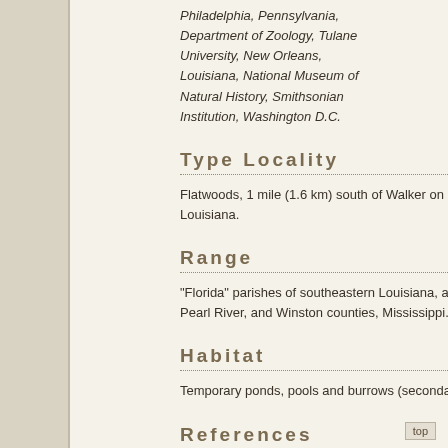Philadelphia, Pennsylvania, Department of Zoology, Tulane University, New Orleans, Louisiana, National Museum of Natural History, Smithsonian Institution, Washington D.C.
Type Locality
Flatwoods, 1 mile (1.6 km) south of Walker on State Route 336, Livingston Parish, Louisiana.
Range
"Florida" parishes of southeastern Louisiana, and Harrison, Jones, Jackson, Perry, Pearl River, and Winston counties, Mississippi.
Habitat
Temporary ponds, pools and burrows (secondary burrower).
References
Hobbs, H. H. Jr. 1989. An Illustrated Checklist of the American Crayfishes (Decapoda: Astacidae, Cambaridae, and